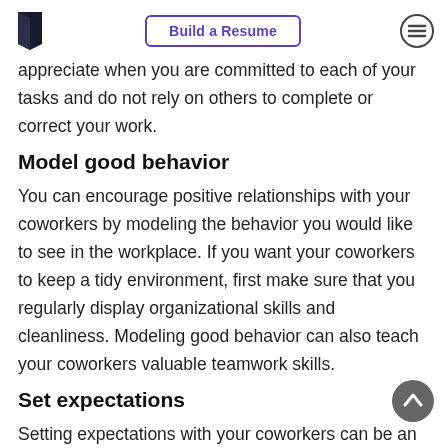Build a Resume
appreciate when you are committed to each of your tasks and do not rely on others to complete or correct your work.
Model good behavior
You can encourage positive relationships with your coworkers by modeling the behavior you would like to see in the workplace. If you want your coworkers to keep a tidy environment, first make sure that you regularly display organizational skills and cleanliness. Modeling good behavior can also teach your coworkers valuable teamwork skills.
Set expectations
Setting expectations with your coworkers can be an